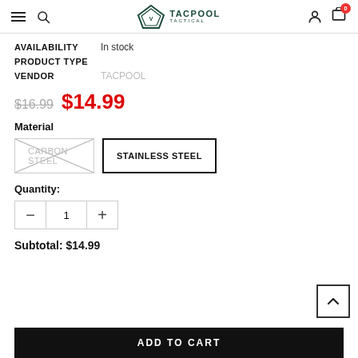[Figure (logo): TACPOOL TACTICAL logo with triangular emblem]
AVAILABILITY   In stock
PRODUCT TYPE
VENDOR   TACPOOL
$16.99  $14.99
Material
CARBON STEEL  STAINLESS STEEL
Quantity:
- 1 +
Subtotal: $14.99
ADD TO CART